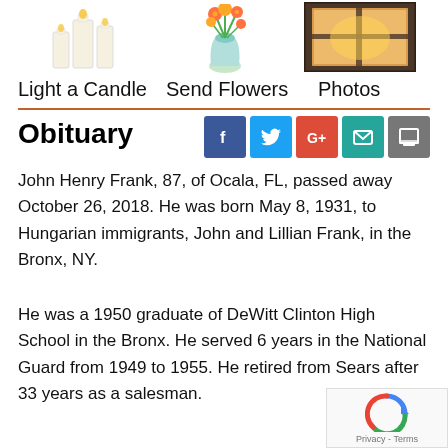[Figure (illustration): Three white candles grouped together]
[Figure (illustration): Orange and yellow flowers in a glass vase]
[Figure (illustration): Warm glowing window at night]
Light a Candle  Send Flowers  Photos
Obituary
John Henry Frank, 87, of Ocala, FL, passed away October 26, 2018. He was born May 8, 1931, to Hungarian immigrants, John and Lillian Frank, in the Bronx, NY.
He was a 1950 graduate of DeWitt Clinton High School in the Bronx. He served 6 years in the National Guard from 1949 to 1955. He retired from Sears after 33 years as a salesman.
He served as an ombudsman in the city of St. Petersburg for several years before moving to